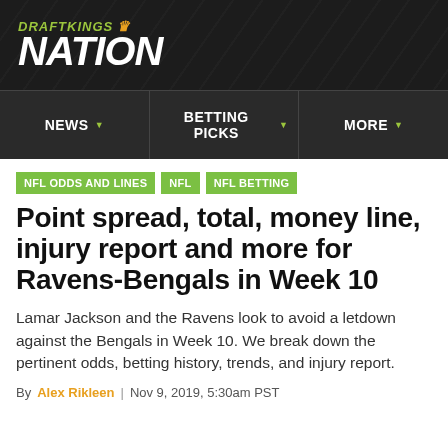DRAFTKINGS NATION
NEWS | BETTING PICKS | MORE
NFL ODDS AND LINES
NFL
NFL BETTING
Point spread, total, money line, injury report and more for Ravens-Bengals in Week 10
Lamar Jackson and the Ravens look to avoid a letdown against the Bengals in Week 10. We break down the pertinent odds, betting history, trends, and injury report.
By Alex Rikleen | Nov 9, 2019, 5:30am PST